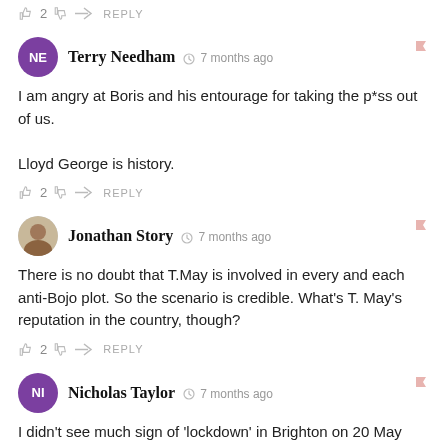👍 2  👎  ➜ REPLY
Terry Needham  🕐 7 months ago
I am angry at Boris and his entourage for taking the p*ss out of us.

Lloyd George is history.
👍 2  👎  ➜ REPLY
Jonathan Story  🕐 7 months ago
There is no doubt that T.May is involved in every and each anti-Bojo plot. So the scenario is credible. What's T. May's reputation in the country, though?
👍 2  👎  ➜ REPLY
Nicholas Taylor  🕐 7 months ago
I didn't see much sign of 'lockdown' in Brighton on 20 May 2020. People were out on the promenade, and on the beaches, in